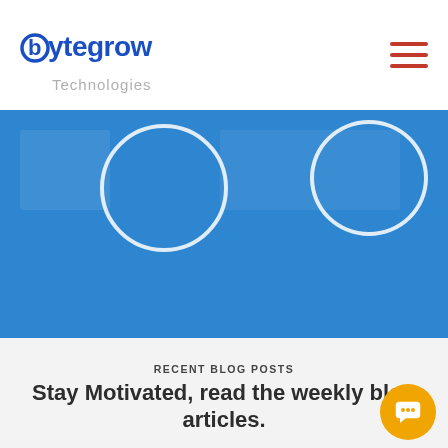[Figure (logo): Bytegrow Technologies logo — 'bytegrow' in bold blue with a circular 'b' and 'Technologies' in grey below]
[Figure (illustration): Blue hero banner with two white circle outlines and faint rectangular overlays]
RECENT BLOG POSTS
Stay Motivated, read the weekly blog articles.
[Figure (other): Orange circular chat/message button in bottom-right corner]